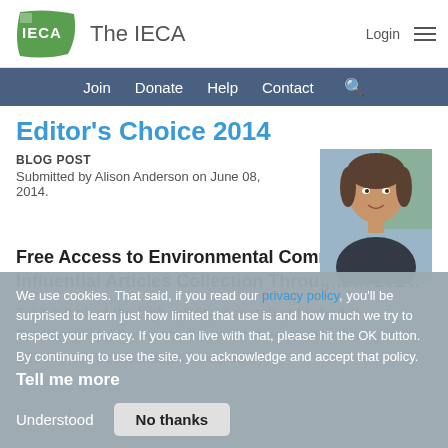The IECA
Editor's Choice 2014
BLOG POST
Submitted by Alison Anderson on June 08, 2014.
[Figure (photo): Profile photo of Alison Anderson]
Free Access to Environmental Communication Influential Articles Collection Throughout 2014!
Take a look at the high quality research published in Environmental Communication with free access throughout 2014 to 10 recent articles selected by
We use cookies. That said, if you read our privacy policy, you'll be surprised to learn just how limited that use is and how much we try to respect your privacy. If you can live with that, please hit the OK button. By continuing to use the site, you acknowledge and accept that policy. Tell me more
Understood   No thanks